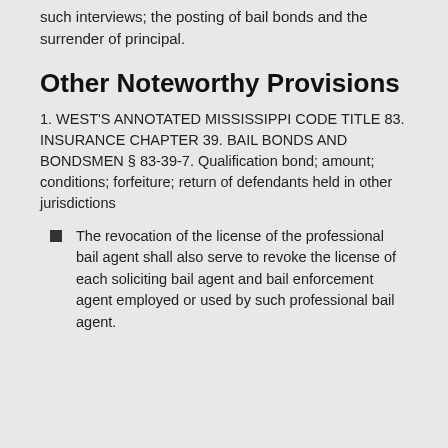such interviews; the posting of bail bonds and the surrender of principal.
Other Noteworthy Provisions
1. WEST'S ANNOTATED MISSISSIPPI CODE TITLE 83. INSURANCE CHAPTER 39. BAIL BONDS AND BONDSMEN § 83-39-7. Qualification bond; amount; conditions; forfeiture; return of defendants held in other jurisdictions
The revocation of the license of the professional bail agent shall also serve to revoke the license of each soliciting bail agent and bail enforcement agent employed or used by such professional bail agent.